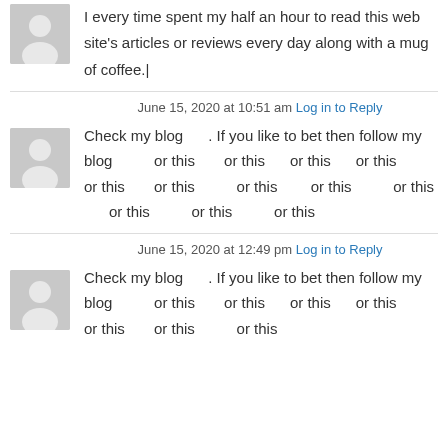I every time spent my half an hour to read this web site's articles or reviews every day along with a mug of coffee.|
June 15, 2020 at 10:51 am Log in to Reply
Check my blog . If you like to bet then follow my blog or this or this or this or this or this or this or this or this or this or this or this or this
June 15, 2020 at 12:49 pm Log in to Reply
Check my blog . If you like to bet then follow my blog or this or this or this or this or this or this or this